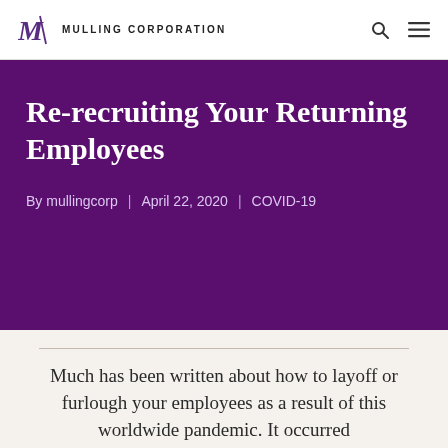MULLING CORPORATION
Re-recruiting Your Returning Employees
By mullingcorp | April 22, 2020 | COVID-19
Much has been written about how to layoff or furlough your employees as a result of this worldwide pandemic. It occurred